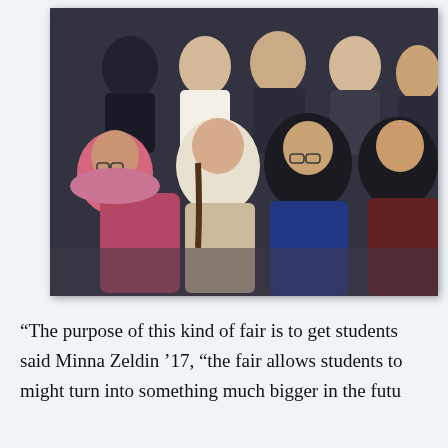[Figure (photo): Group photo of several young female students, some wearing hijabs, seated together and smiling at the camera. The photo appears to be taken at an indoor event or fair.]
“The purpose of this kind of fair is to get students said Minna Zeldin ’17, “the fair allows students to might turn into something much bigger in the futu